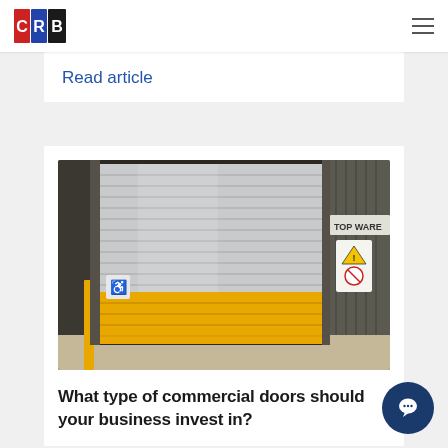CRB Door Systems Ltd
Read article
[Figure (photo): Industrial roller shutter door with silver upper section and yellow lower section, partially open, in a warehouse setting with a hazard sign and TOP WARE text visible on the right wall.]
What type of commercial doors should your business invest in?